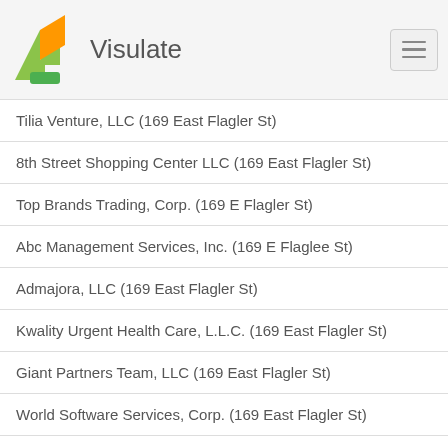Visulate
Tilia Venture, LLC (169 East Flagler St)
8th Street Shopping Center LLC (169 East Flagler St)
Top Brands Trading, Corp. (169 E Flagler St)
Abc Management Services, Inc. (169 E Flaglee St)
Admajora, LLC (169 East Flagler St)
Kwality Urgent Health Care, L.L.C. (169 East Flagler St)
Giant Partners Team, LLC (169 East Flagler St)
World Software Services, Corp. (169 East Flagler St)
Porras & Company, Cpa, Pa (169 East Flagler St)
Hal M. Lucas P.A. (169 East Flagler St)